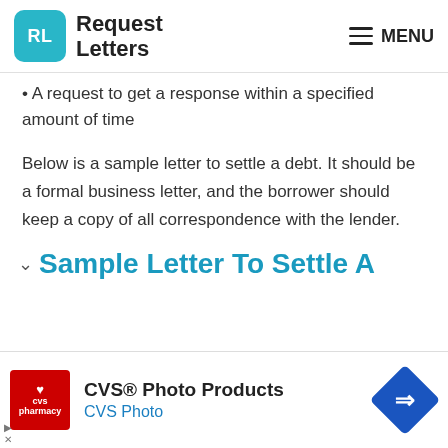Request Letters  MENU
• A request to get a response within a specified amount of time
Below is a sample letter to settle a debt. It should be a formal business letter, and the borrower should keep a copy of all correspondence with the lender.
Sample Letter To Settle A
[Figure (other): CVS Pharmacy advertisement: CVS® Photo Products, CVS Photo]